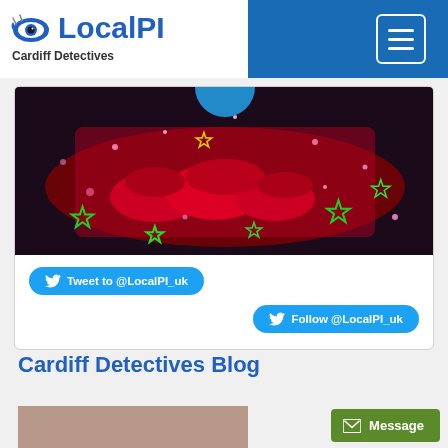LocalPI - Cardiff Detectives
[Figure (photo): Decorative photo with red lips, green star outlines, and sparkle effects on dark background]
Tweet to @LocalPI_uk
Follow @LocalPI_uk
Cardiff Detectives Blog
[Figure (photo): Partial blog image strip at bottom]
Message